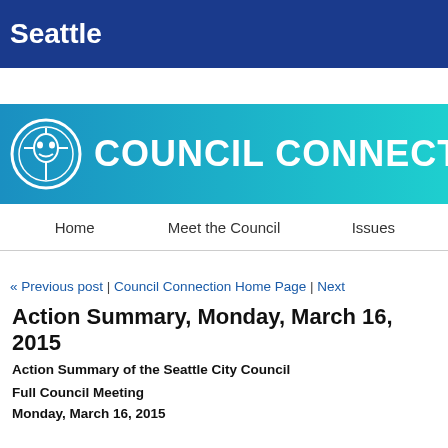Seattle
[Figure (logo): Council Connection banner with Seattle city seal logo and text COUNCIL CONNECTION on teal/blue gradient background]
Home | Meet the Council | Issues
« Previous post  |  Council Connection Home Page  |  Next
Action Summary, Monday, March 16, 2015
Action Summary of the Seattle City Council
Full Council Meeting
Monday, March 16, 2015